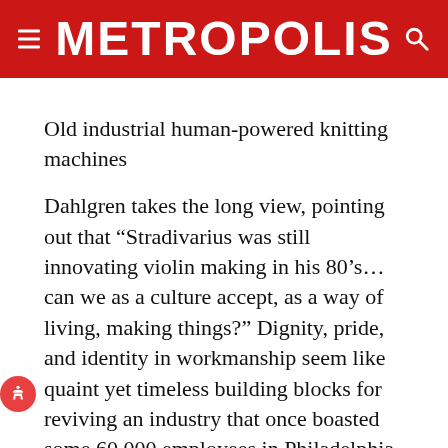METROPOLIS
Old industrial human-powered knitting machines
Dahlgren takes the long view, pointing out that “Stradivarius was still innovating violin making in his 80’s…can we as a culture accept, as a way of living, making things?” Dignity, pride, and identity in workmanship seem like quaint yet timeless building blocks for reviving an industry that once boasted some 60,000 employees in Philadelphia and competed globally long before